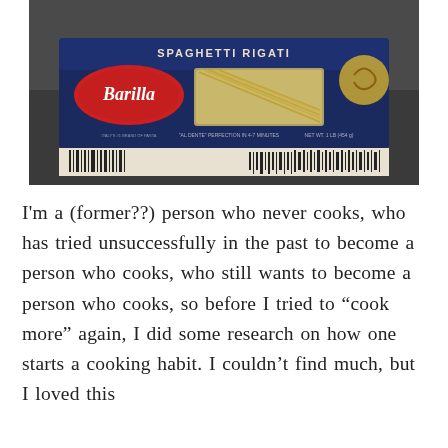[Figure (photo): A box of Barilla Spaghetti Rigati pasta (navy blue box, NET WT. 1 LB 454g) on a dark table surface, with other grocery items partially visible in the background. The box shows the Barilla logo (red oval), 'SPAGHETTI RIGATI' text, a window showing the pasta, and a barcode on the bottom.]
I'm a (former??) person who never cooks, who has tried unsuccessfully in the past to become a person who cooks, who still wants to become a person who cooks, so before I tried to “cook more” again, I did some research on how one starts a cooking habit. I couldn’t find much, but I loved this